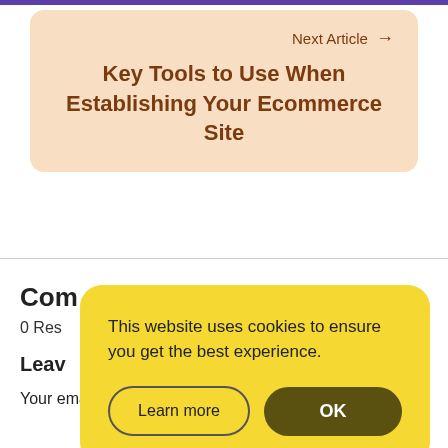Next Article →
Key Tools to Use When Establishing Your Ecommerce Site
Com
0 Res
Leav
Your email address will not be published. Required fields
This website uses cookies to ensure you get the best experience.
Learn more
OK